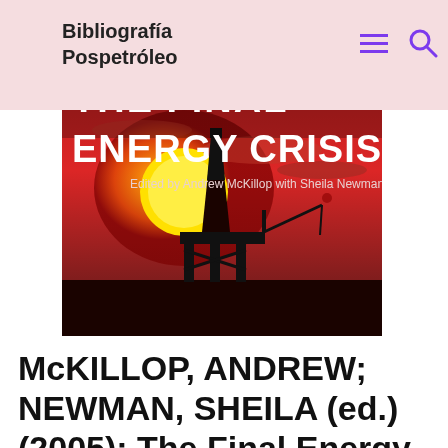Bibliografía Pospetróleo
[Figure (photo): Book cover of 'The Final Energy Crisis' edited by Andrew McKillop with Sheila Newman. Shows an oil rig silhouetted against a dramatic red/orange sunset sky with a large yellow sun. White bold text reads 'THE FINAL ENERGY CRISIS' and subtitle 'Edited by Andrew McKillop with Sheila Newman'.]
McKILLOP, ANDREW; NEWMAN, SHEILA (ed.) (2005): The Final Energy